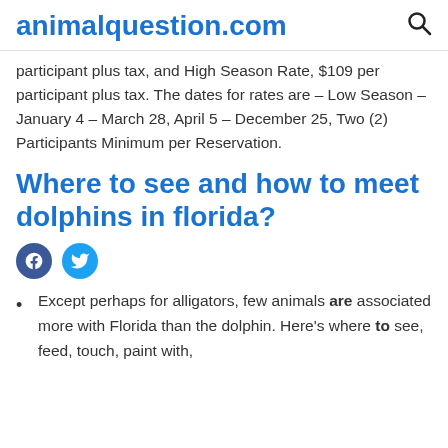animalquestion.com
participant plus tax, and High Season Rate, $109 per participant plus tax. The dates for rates are – Low Season – January 4 – March 28, April 5 – December 25, Two (2) Participants Minimum per Reservation.
Where to see and how to meet dolphins in florida?
[Figure (other): Facebook and Twitter social share icons]
Except perhaps for alligators, few animals are associated more with Florida than the dolphin. Here's where to see, feed, touch, paint with,